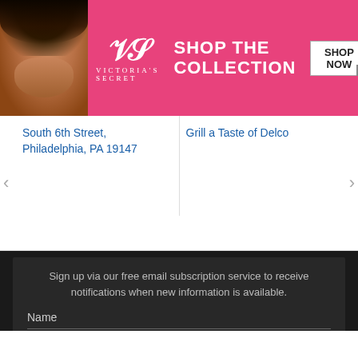[Figure (photo): Victoria's Secret advertisement banner: woman's photo on left, VS logo in center on pink background, 'SHOP THE COLLECTION' text, 'SHOP NOW' button with close X]
South 6th Street, Philadelphia, PA 19147
Grill a Taste of Delco
Sign up via our free email subscription service to receive notifications when new information is available.
Name
[Figure (screenshot): BitLife app advertisement: red background with white sperm logo and yellow BitLife text]
[Figure (screenshot): Murder game advertisement: white background with knife graphic, 'Murder' text in dark red, 'Do it!' blue rounded button, close and question mark icons]